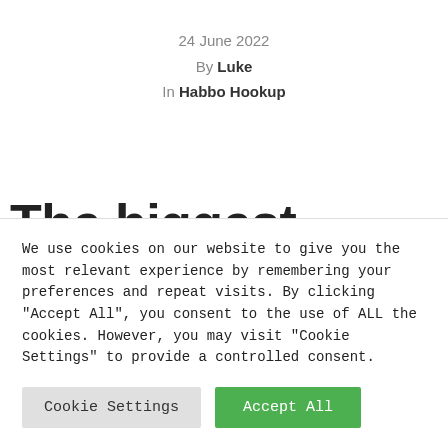24 June 2022
By Luke
In Habbo Hookup
The biggest reason that
We use cookies on our website to give you the most relevant experience by remembering your preferences and repeat visits. By clicking "Accept All", you consent to the use of ALL the cookies. However, you may visit "Cookie Settings" to provide a controlled consent.